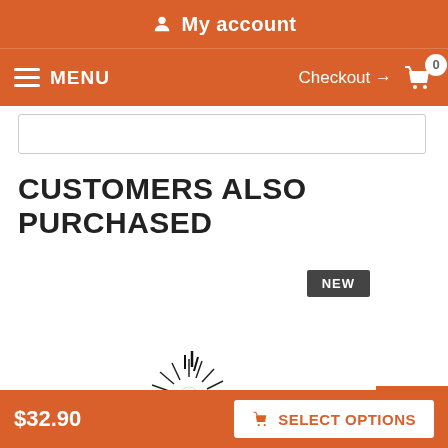My account
MENU   Checkout → 0
CUSTOMERS ALSO PURCHASED
[Figure (other): Loading spinner / starburst animation icon in center of product area, with a NEW badge in dark grey in upper right area]
$32.90
SELECT OPTIONS